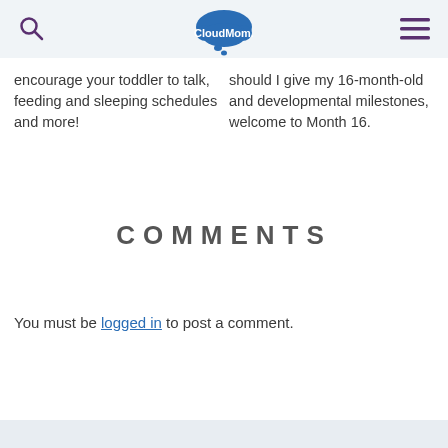CloudMom
encourage your toddler to talk, feeding and sleeping schedules and more!
should I give my 16-month-old and developmental milestones, welcome to Month 16.
COMMENTS
You must be logged in to post a comment.